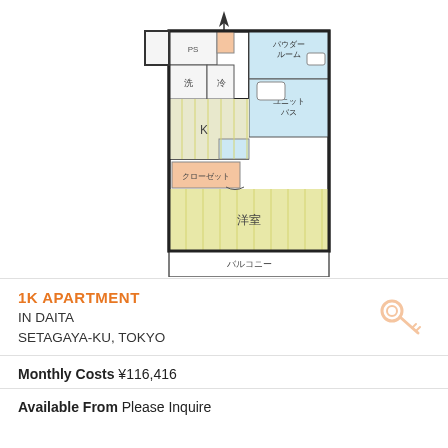[Figure (schematic): Japanese apartment floor plan (1K) showing rooms labeled in Japanese: 洋室 (bedroom/Western room), K (kitchen), 洗 (laundry), 冷 (refrigerator space), PS, 浴室, ユニットバス (unit bath), パウダールーム (powder room), クローゼット (closet), バルコニー (balcony). Layout shows entry at top, main room at bottom, balcony at very bottom.]
1K APARTMENT IN DAITA SETAGAYA-KU, TOKYO
Monthly Costs ¥116,416
Available From Please Inquire